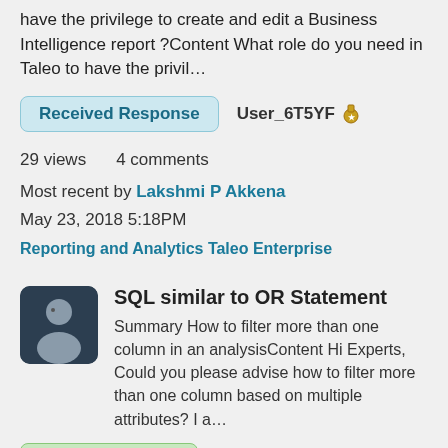Summary What role do you need in Taleo to have the privilege to create and edit a Business Intelligence report ?Content What role do you need in Taleo to have the privil...
Received Response   User_6T5YF 🏅
29 views    4 comments
Most recent by Lakshmi P Akkena
May 23, 2018 5:18PM
Reporting and Analytics Taleo Enterprise
SQL similar to OR Statement
Summary How to filter more than one column in an analysisContent Hi Experts, Could you please advise how to filter more than one column based on multiple attributes? I a...
Accepted answer   Pofu Huang 🔔